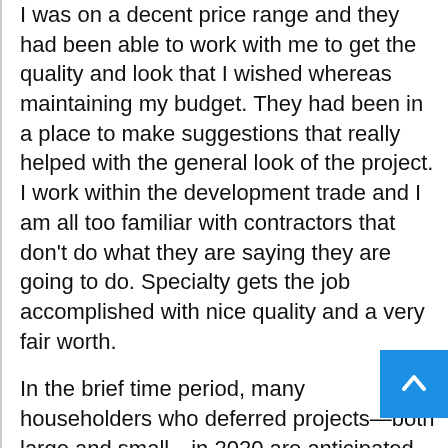I was on a decent price range and they had been able to work with me to get the quality and look that I wished whereas maintaining my budget. They had been in a place to make suggestions that really helped with the general look of the project. I work within the development trade and I am all too familiar with contractors that don't do what they are saying they are going to do. Specialty gets the job accomplished with nice quality and a very fair worth.
In the brief time period, many householders who deferred projects—both large and small—in 2020 are anticipated to finish those renovations as quickly as the pandemic is over. All of these elements have boosted the house improvement market and will turn into lasting trends that, in turn, fuel reworking exercise in the US for years to